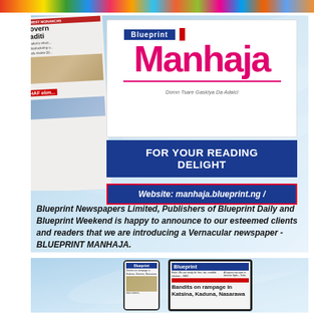[Figure (infographic): Colorful decorative top banner strip with festive pattern]
[Figure (infographic): Blueprint Manhaja newspaper advertisement showing the Manhaja logo, 'FOR YOUR READING DELIGHT', website manhaja.blueprint.ng/, and announcement text about Blueprint Newspapers Limited introducing a Vernacular newspaper - BLUEPRINT MANHAJA]
Blueprint Newspapers Limited, Publishers of Blueprint Daily and Blueprint Weekend is happy to announce to our esteemed clients and readers that we are introducing a Vernacular newspaper - BLUEPRINT MANHAJA.
[Figure (infographic): Second advertisement panel showing Blueprint newspaper on phone and tablet devices with news headlines including 'Bandits on rampage in Katsina, Kaduna, Nasarawa']